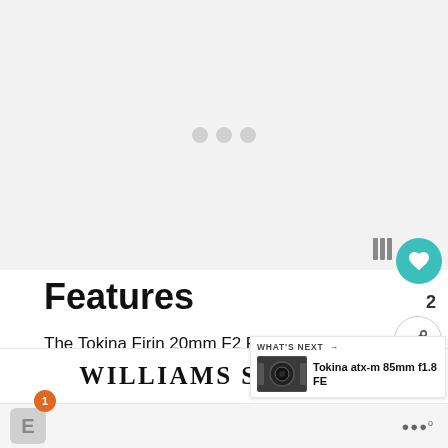[Figure (photo): Loading placeholder area with three grey dots indicating an image is loading, light grey background]
Features
The Tokina Firin 20mm F2 FE AF, unlike the FíRIN 20mm F2 FE MF, doesn't featu aperture focus ring and this means that the design of the barrel is far cleaner and
[Figure (photo): WHAT'S NEXT overlay with thumbnail of Tokina atx-m 85mm f1.8 FE lens]
WILLIAMS SONOMA